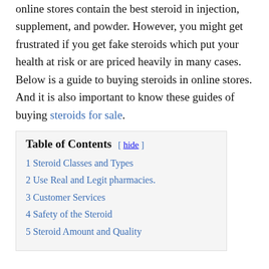online stores contain the best steroid in injection, supplement, and powder. However, you might get frustrated if you get fake steroids which put your health at risk or are priced heavily in many cases. Below is a guide to buying steroids in online stores. And it is also important to know these guides of buying steroids for sale.
Table of Contents [ hide ]
1 Steroid Classes and Types
2 Use Real and Legit pharmacies.
3 Customer Services
4 Safety of the Steroid
5 Steroid Amount and Quality